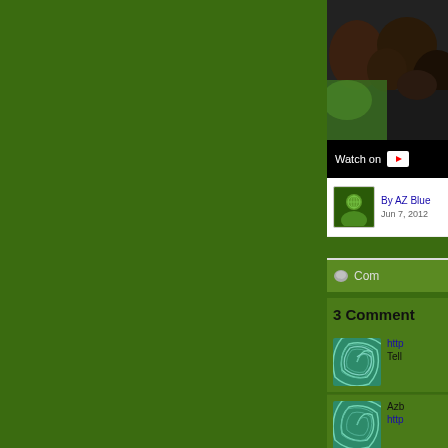[Figure (screenshot): Green background occupying left portion of page, with partial website UI on right showing a YouTube video thumbnail with 'Watch on' bar, author byline 'By AZ Blue Jun 7, 2012', a comments section header, '3 Comment' count, and two commenter avatars with spiral patterns, partial link text 'http' and 'Tell', and 'Azb' second commenter.]